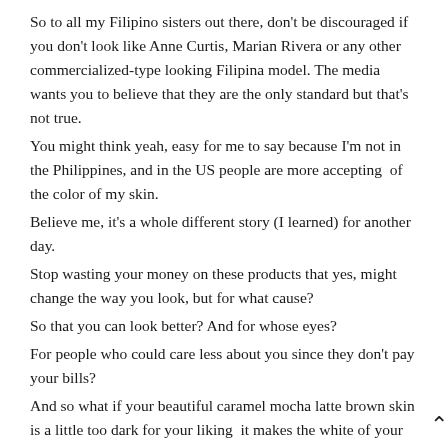So to all my Filipino sisters out there, don't be discouraged if you don't look like Anne Curtis, Marian Rivera or any other commercialized-type looking Filipina model. The media wants you to believe that they are the only standard but that's not true.
You might think yeah, easy for me to say because I'm not in the Philippines, and in the US people are more accepting of the color of my skin.
Believe me, it's a whole different story (I learned) for another day.
Stop wasting your money on these products that yes, might change the way you look, but for what cause?
So that you can look better? And for whose eyes?
For people who could care less about you since they don't pay your bills?
And so what if your beautiful caramel mocha latte brown skin is a little too dark for your liking it makes the white of your eyes pop out?
So effing what?